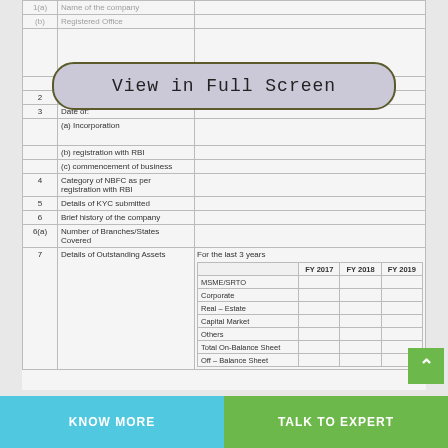|  | Field | Value |
| --- | --- | --- |
| 1(a) | Name of the company |  |
| (b) | Registered Office |  |
|  | Contact person |  |
| 2 | Constitution |  |
| 3 | Date of: |  |
|  | (a) Incorporation |  |
|  | (b) registration with RBI |  |
|  | (c) commencement of business |  |
| 4 | Category of NBFC as per registration with RBI |  |
| 5 | Details of KYC submitted |  |
| 6 | Brief history of the company |  |
| 6(a) | Number of Branches/States Covered |  |
| 7 | Details of Outstanding Assets | For the last 3 years |
|  | FY 2017 | FY 2018 | FY 2019 |
| --- | --- | --- | --- |
| MSME/SRTO |  |  |  |
| Corporate |  |  |  |
| Real – Estate |  |  |  |
| Capital Market |  |  |  |
| Others |  |  |  |
| Total On-Balance Sheet |  |  |  |
| Off – Balance Sheet |  |  |  |
View in Full Screen
KNOW MORE
TALK TO EXPERT